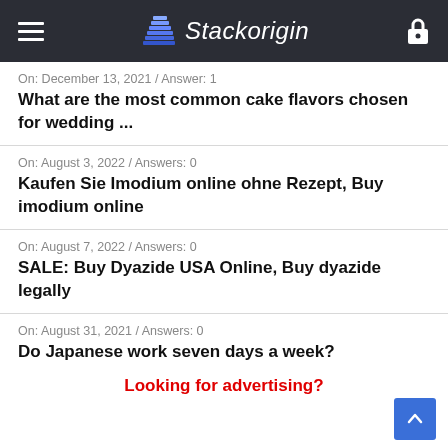Stackorigin
On: December 13, 2021 / Answer: 1
What are the most common cake flavors chosen for wedding ...
On: August 3, 2022 / Answers: 0
Kaufen Sie Imodium online ohne Rezept, Buy imodium online
On: August 7, 2022 / Answers: 0
SALE: Buy Dyazide USA Online, Buy dyazide legally
On: August 31, 2021 / Answers: 0
Do Japanese work seven days a week?
Looking for advertising?